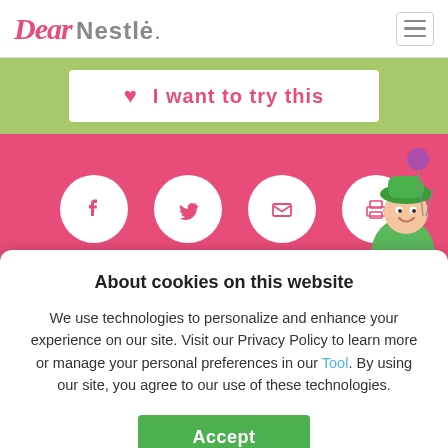Dear Nestlé
I want to try this
[Figure (screenshot): Social sharing icons: Facebook, Twitter, Email, Print in white circles on pink background; cartoon character with balloons on right]
About cookies on this website
We use technologies to personalize and enhance your experience on our site. Visit our Privacy Policy to learn more or manage your personal preferences in our Tool. By using our site, you agree to our use of these technologies.
Accept